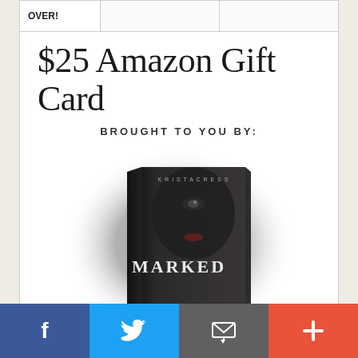| OVER! |  |  |
| --- | --- | --- |
|  |
$25 Amazon Gift Card
BROUGHT TO YOU BY:
[Figure (photo): Book cover of 'MARKED' — dark cover showing a woman's face with the title MARKED in white text, presented as a 3D book standing upright against a smoky grey circular background]
And the winner is...
[Figure (infographic): Social media sharing bar with four buttons: Facebook (blue, f), Twitter (light blue, bird), Email (dark grey, envelope icon), and Plus/More (red-orange, +)]